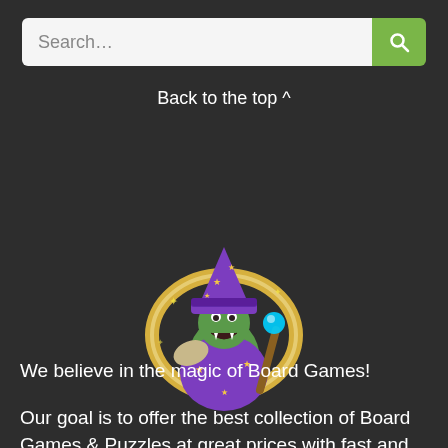Search...
Back to the top ^
[Figure (illustration): Cartoon mascot of a green dragon/lizard character dressed as a wizard with a purple star-patterned robe and hat, holding a magic staff with a blue orb, surrounded by a golden glowing circle]
We believe in the magic of Board Games!
Our goal is to offer the best collection of Board Games & Puzzles at great prices with fast and